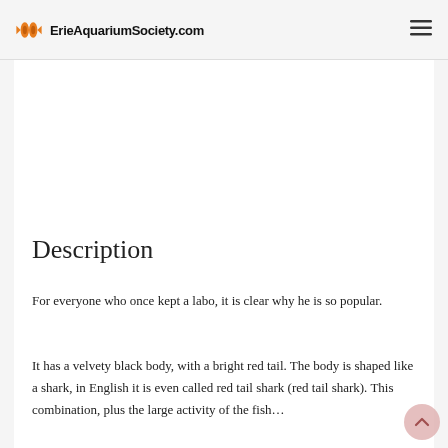ErieAquariumSociety.com
Description
For everyone who once kept a labo, it is clear why he is so popular.
It has a velvety black body, with a bright red tail. The body is shaped like a shark, in English it is even called red tail shark (red tail shark). This combination, plus the large activity of the fish…